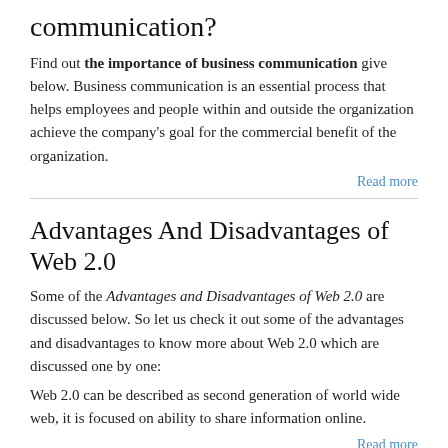communication?
Find out the importance of business communication give below. Business communication is an essential process that helps employees and people within and outside the organization achieve the company’s goal for the commercial benefit of the organization.
Read more
Advantages And Disadvantages of Web 2.0
Some of the Advantages and Disadvantages of Web 2.0 are discussed below. So let us check it out some of the advantages and disadvantages to know more about Web 2.0 which are discussed one by one:
Web 2.0 can be described as second generation of world wide web, it is focused on ability to share information online.
Read more